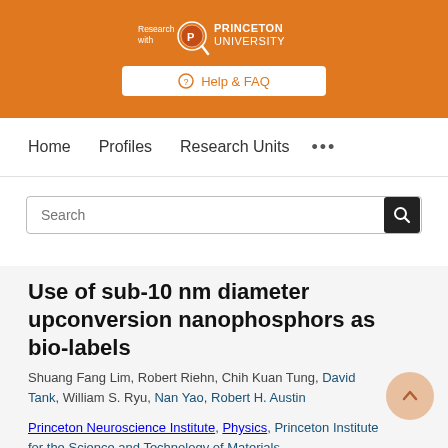[Figure (logo): Princeton University 'Research with Princeton University' logo with seal on orange background]
⊕ Help & FAQ
Home   Profiles   Research Units   ...
Search
Use of sub-10 nm diameter upconversion nanophosphors as bio-labels
Shuang Fang Lim, Robert Riehn, Chih Kuan Tung, David Tank, William S. Ryu, Nan Yao, Robert H. Austin
Princeton Neuroscience Institute, Physics, Princeton Institute for the Science and Technology of Materials